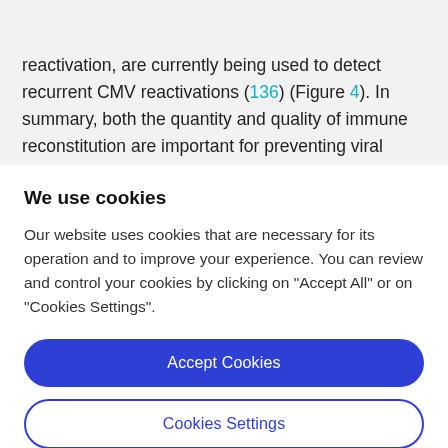frontiers
reactivation, are currently being used to detect recurrent CMV reactivations (136) (Figure 4). In summary, both the quantity and quality of immune reconstitution are important for preventing viral infection after allogeneic HSCT.
We use cookies
Our website uses cookies that are necessary for its operation and to improve your experience. You can review and control your cookies by clicking on "Accept All" or on "Cookies Settings".
Accept Cookies
Cookies Settings